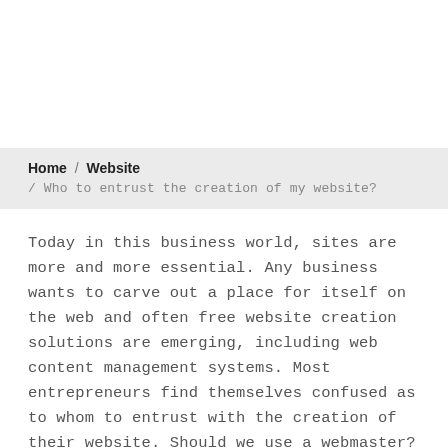Home / Website / Who to entrust the creation of my website?
Today in this business world, sites are more and more essential. Any business wants to carve out a place for itself on the web and often free website creation solutions are emerging, including web content management systems. Most entrepreneurs find themselves confused as to whom to entrust with the creation of their website. Should we use a webmaster? Again, which webmaster, what are the basic elements that I need to base the choice of the one or the